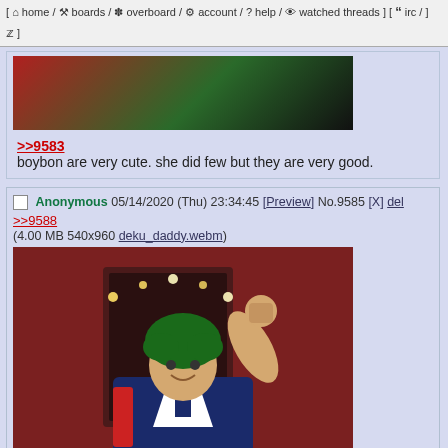[ home / boards / overboard / account / ? help / watched threads ] [ irc / ]
[Figure (photo): Partial image visible at top, appears to be green and red colored image cropped]
>>9583
boybon are very cute. she did few but they are very good.
Anonymous 05/14/2020 (Thu) 23:34:45 [Preview] No.9585 [X] del
>>9588
(4.00 MB 540x960 deku_daddy.webm)
[Figure (photo): Person in Deku (My Hero Academia) cosplay with green wig, wearing blue hero costume with white details, posing with arm raised in a red-walled room with string lights in background]